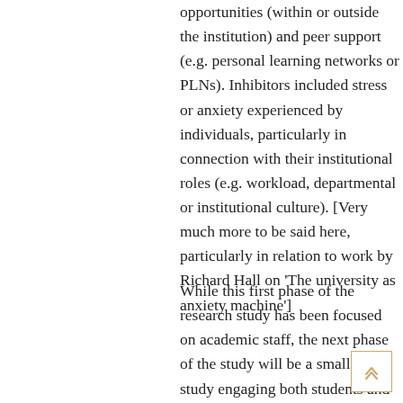opportunities (within or outside the institution) and peer support (e.g. personal learning networks or PLNs). Inhibitors included stress or anxiety experienced by individuals, particularly in connection with their institutional roles (e.g. workload, departmental or institutional culture). [Very much more to be said here, particularly in relation to work by Richard Hall on 'The university as anxiety machine']
While this first phase of the research study has been focused on academic staff, the next phase of the study will be a smaller study engaging both students and staff to explore why and how they interact in open online